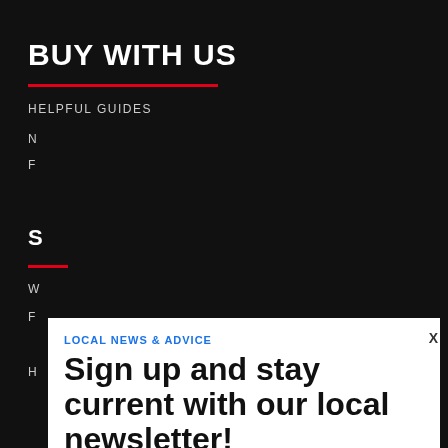BUY WITH US
HELPFUL GUIDES
N
F
S
W
F
H
LOCAL NEWS & ADVICE
Sign up and stay current with our local newsletter!
Subscribe Using Facebook
Subscribe Using Google